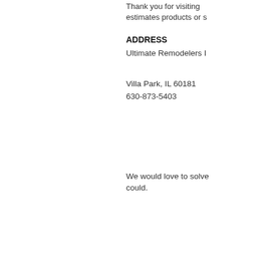Thank you for visiting estimates products or s
ADDRESS
Ultimate Remodelers I
Villa Park, IL 60181
630-873-5403
We would love to solve could.